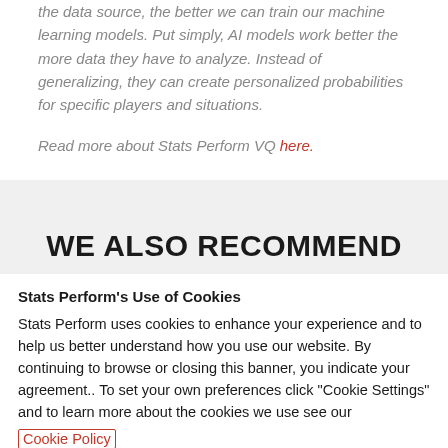the data source, the better we can train our machine learning models. Put simply, AI models work better the more data they have to analyze. Instead of generalizing, they can create personalized probabilities for specific players and situations.
Read more about Stats Perform VQ here.
WE ALSO RECOMMEND
Stats Perform's Use of Cookies
Stats Perform uses cookies to enhance your experience and to help us better understand how you use our website. By continuing to browse or closing this banner, you indicate your agreement.. To set your own preferences click "Cookie Settings" and to learn more about the cookies we use see our Cookie Policy